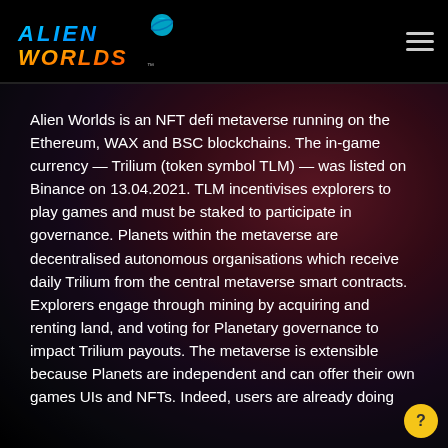Alien Worlds
Alien Worlds is an NFT defi metaverse running on the Ethereum, WAX and BSC blockchains. The in-game currency — Trilium (token symbol TLM) — was listed on Binance on 13.04.2021. TLM incentivises explorers to play games and must be staked to participate in governance. Planets within the metaverse are decentralised autonomous organisations which receive daily Trilium from the central metaverse smart contracts. Explorers engage through mining by acquiring and renting land, and voting for Planetary governance to impact Trilium payouts. The metaverse is extensible because Planets are independent and can offer their own games UIs and NFTs. Indeed, users are already doing